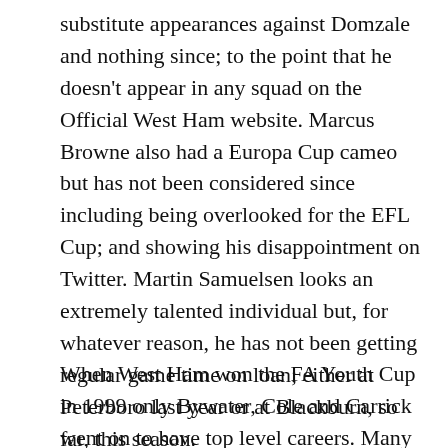substitute appearances against Domzale and nothing since; to the point that he doesn't appear in any squad on the Official West Ham website. Marcus Browne also had a Europa Cup cameo but has not been considered since including being overlooked for the EFL Cup; and showing his disappointment on Twitter. Martin Samuelsen looks an extremely talented individual but, for whatever reason, he has not been getting regular game time on loan; either at Peterboro last year or at Blackburn, so far, this season.
When West Ham won the FA Youth Cup in 1999 only Bywater, Cole and Carrick went on to have top level careers. Many young players drop by